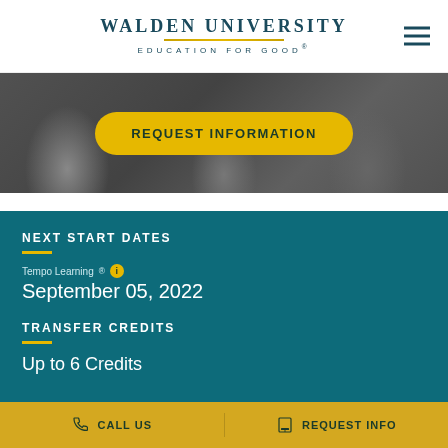WALDEN UNIVERSITY EDUCATION FOR GOOD®
[Figure (photo): Dark background photo with people silhouettes and a gold 'REQUEST INFORMATION' button overlay]
NEXT START DATES
Tempo Learning® ℹ September 05, 2022
TRANSFER CREDITS
Up to 6 Credits
CALL US    REQUEST INFO